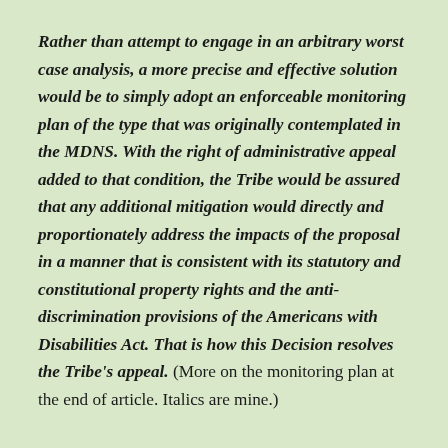Rather than attempt to engage in an arbitrary worst case analysis, a more precise and effective solution would be to simply adopt an enforceable monitoring plan of the type that was originally contemplated in the MDNS. With the right of administrative appeal added to that condition, the Tribe would be assured that any additional mitigation would directly and proportionately address the impacts of the proposal in a manner that is consistent with its statutory and constitutional property rights and the anti-discrimination provisions of the Americans with Disabilities Act. That is how this Decision resolves the Tribe's appeal. (More on the monitoring plan at the end of article. Italics are mine.)